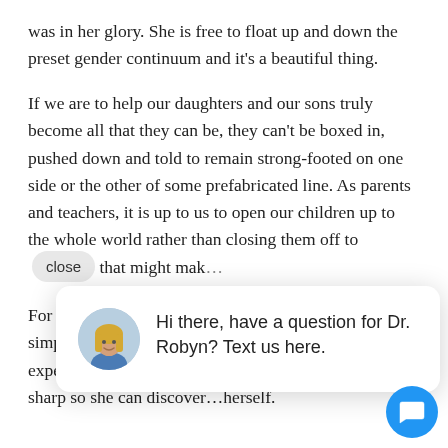was in her glory. She is free to float up and down the preset gender continuum and it's a beautiful thing.
If we are to help our daughters and our sons truly become all that they can be, they can't be boxed in, pushed down and told to remain strong-footed on one side or the other of some prefabricated line. As parents and teachers, it is up to us to open our children up to the whole world rather than closing them off to [close] that might mak…
For us, we feel … person she was… limit her. Keepi… simply don't keep her from experiencing, exploring and experimenting.  I want her to keep all 5 senses op… and sharp so she can discover…herself.
[Figure (other): Chat popup with avatar photo of a blonde woman (Dr. Robyn) and text: Hi there, have a question for Dr. Robyn? Text us here.]